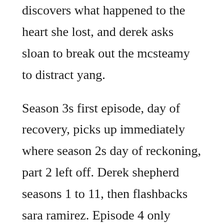discovers what happened to the heart she lost, and derek asks sloan to break out the mcsteamy to distract yang.
Season 3s first episode, day of recovery, picks up immediately where season 2s day of reckoning, part 2 left off. Derek shepherd seasons 1 to 11, then flashbacks sara ramirez. Episode 4 only mama knows episode 5 bend and break episode 6. May 03, 2019 unfortunately, in their first encounter at one punch man season 2, episode 3, saitama knocked out garou with one chop on his shoulder. Valerios fling with her classmate